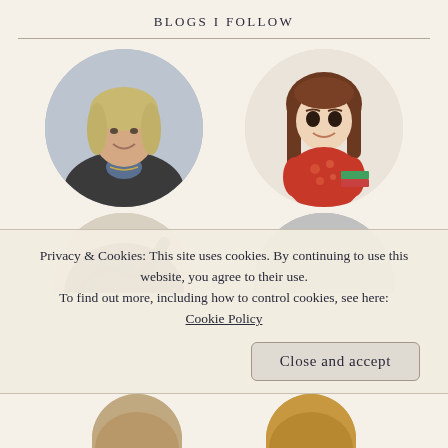BLOGS I FOLLOW
[Figure (photo): Circular avatar photo of a blonde woman in a dark jacket, professional headshot]
[Figure (illustration): Circular avatar of a cartoon character with brown hair wearing a red patterned top]
[Figure (other): Partially visible circular avatar showing a dark swirly design at the bottom of the page]
[Figure (other): Partially visible circular avatar showing a grey circle at the bottom of the page]
Privacy & Cookies: This site uses cookies. By continuing to use this website, you agree to their use.
To find out more, including how to control cookies, see here:
Cookie Policy
Close and accept